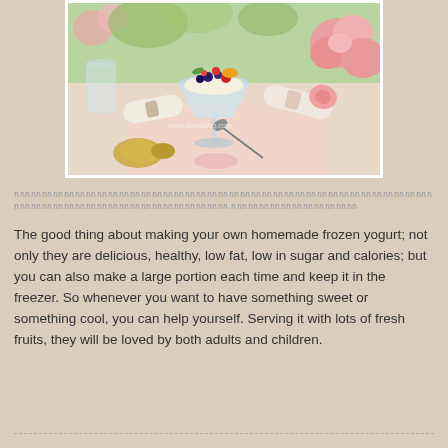[Figure (photo): A beautifully styled table setting with a glass bowl of frozen yogurt topped with fresh berries and fruits, surrounded by pink roses, rolled napkins, and utensils on a light linen tablecloth. Watermark visible: www.abowlblog.com]
Thai language text (script characters forming two lines)
The good thing about making your own homemade frozen yogurt; not only they are delicious, healthy, low fat, low in sugar and calories; but you can also make a large portion each time and keep it in the freezer. So whenever you want to have something sweet or something cool, you can help yourself. Serving it with lots of fresh fruits, they will be loved by both adults and children.